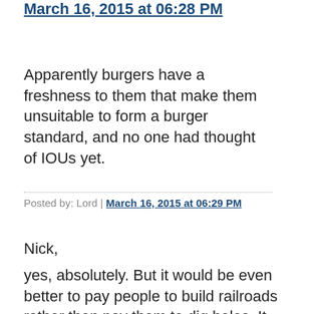March 16, 2015 at 06:28 PM
Apparently burgers have a freshness to them that make them unsuitable to form a burger standard, and no one had thought of IOUs yet.
Posted by: Lord | March 16, 2015 at 06:29 PM
Nick,
yes, absolutely. But it would be even better to pay people to build railroads rather then pay them to dig holes. It would also be much better because when one digs a hole, it's not